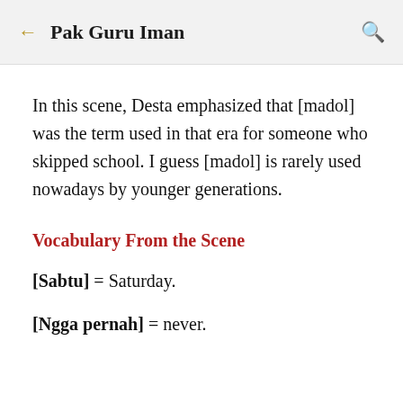Pak Guru Iman
In this scene, Desta emphasized that [madol] was the term used in that era for someone who skipped school. I guess [madol] is rarely used nowadays by younger generations.
Vocabulary From the Scene
[Sabtu] = Saturday.
[Ngga pernah] = never.